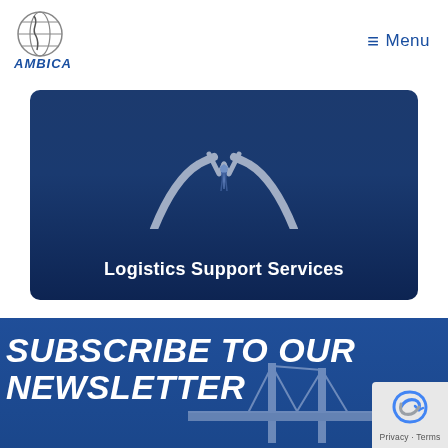[Figure (logo): Ambica logo with globe and blue text]
≡ Menu
[Figure (illustration): Card with businessman icon showing suit and tie on dark blue gradient background with text Logistics Support Services]
SUBSCRIBE TO OUR NEWSLETTER
[Figure (photo): Bridge infrastructure photo in background of newsletter section]
[Figure (logo): reCAPTCHA Privacy Terms badge]